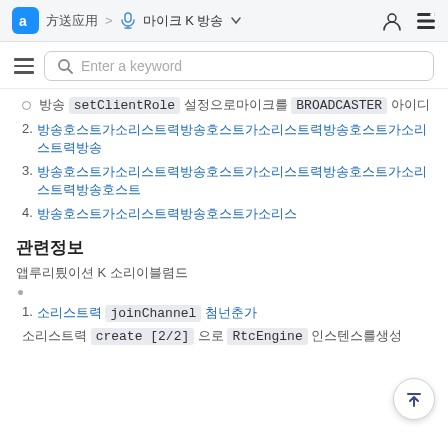애플리케이션 > 🎤 마이크 K 방송 ▼
방송 setClientRole 설정으로마이크를BROADCASTER 역할
2. 방송호스트가오디오를활성화하고채널에참가합니다.
3. 방송호스트가오디오를활성화하고채널에참가합니다.
4. 방송호스트가오디오를활성화
관련정보
애플리케이션 K 오디오라이브브로드
1. 오디오스트림 joinChannel 채널참가
오디오스트림 create [2/2] 으로 RtcEngine 인스턴스를생성